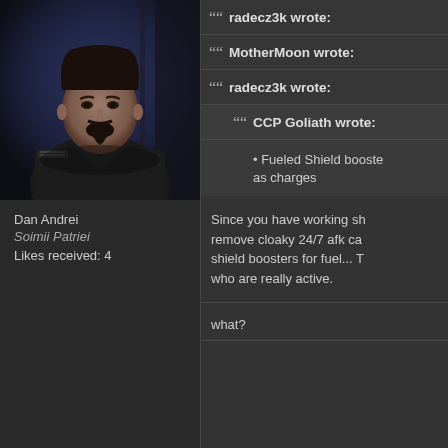[Figure (photo): Avatar portrait of a man in dark military-style clothing with goatee, against a dark background]
Dan Andrei
Soimii Patriei
Likes received: 4
radecz3k wrote:
MotherMoon wrote:
radecz3k wrote:
CCP Goliath wrote:
• Fueled Shield boosters now use charges as charges
Since you have working sh... remove cloaky 24/7 afk ca... shield boosters for fuel... T... who are really active.
what?